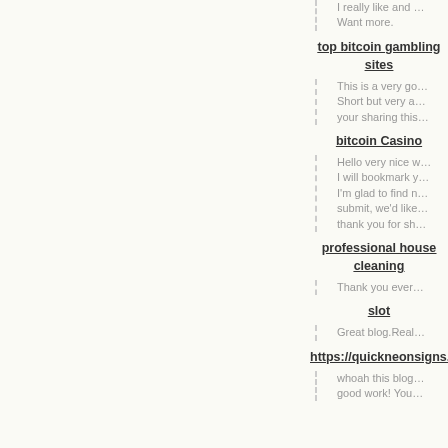I really like and … Want more.
top bitcoin gambling sites
This is a very go… Short but very a… your sharing this…
bitcoin Casino
Hello very nice w… I will bookmark y… I'm glad to find n… submit, we'd like… thank you for sh…
professional house cleaning
Thank you ever…
slot
Great blog.Real…
https://quickneonsigns.com/
whoah this blog… good work! You…